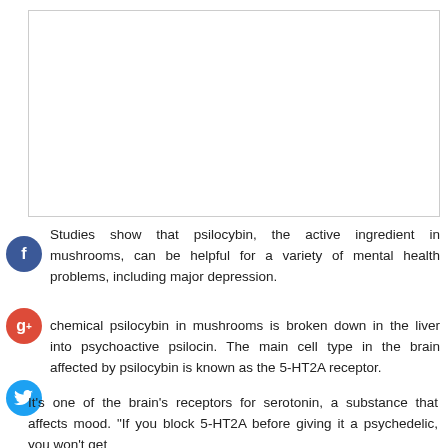[Figure (other): Blank white image placeholder with light gray border]
Studies show that psilocybin, the active ingredient in mushrooms, can be helpful for a variety of mental health problems, including major depression.
The chemical psilocybin in mushrooms is broken down in the liver into psychoactive psilocin. The main cell type in the brain affected by psilocybin is known as the 5-HT2A receptor.
It's one of the brain's receptors for serotonin, a substance that affects mood. "If you block 5-HT2A before giving it a psychedelic, you won't get